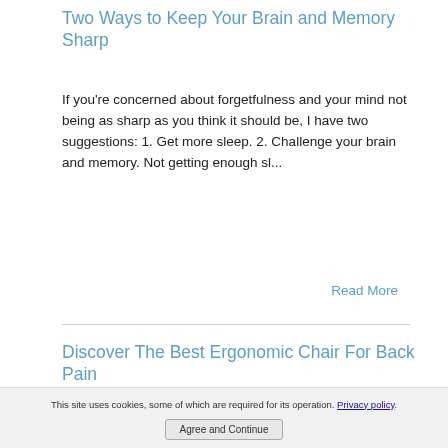Two Ways to Keep Your Brain and Memory Sharp
If you're concerned about forgetfulness and your mind not being as sharp as you think it should be, I have two suggestions: 1. Get more sleep. 2. Challenge your brain and memory. Not getting enough sl...
Read More
Discover The Best Ergonomic Chair For Back Pain
This site uses cookies, some of which are required for its operation. Privacy policy.